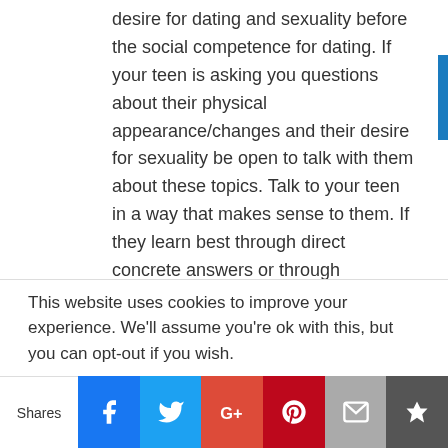desire for dating and sexuality before the social competence for dating. If your teen is asking you questions about their physical appearance/changes and their desire for sexuality be open to talk with them about these topics. Talk to your teen in a way that makes sense to them. If they learn best through direct concrete answers or through pictures/videos, help provide these opportunities for them to learn about the changes in their bodies.
Be Proactive and have Open Dialogue with your Teen about Dating and Sexuality
Sex and dating are very complex social situations. If you think your teen may be sexually active or dealing with opportunities for sexual activity don't delay these
This website uses cookies to improve your experience. We'll assume you're ok with this, but you can opt-out if you wish.